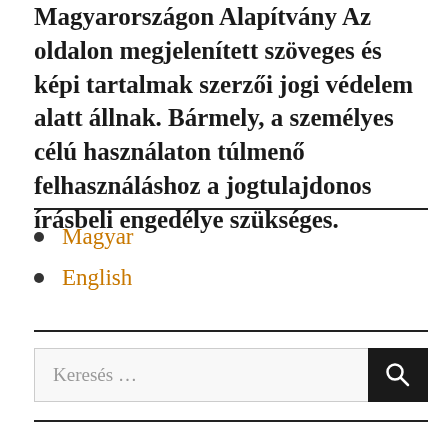Magyarországon Alapítvány Az oldalon megjelenített szöveges és képi tartalmak szerzői jogi védelem alatt állnak. Bármely, a személyes célú használaton túlmenő felhasználáshoz a jogtulajdonos írásbeli engedélye szükséges.
Magyar
English